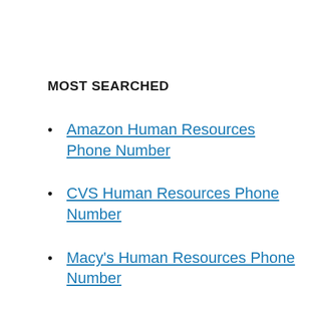MOST SEARCHED
Amazon Human Resources Phone Number
CVS Human Resources Phone Number
Macy's Human Resources Phone Number
Walmart Human Resources Phone